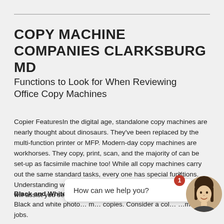COPY MACHINE COMPANIES CLARKSBURG MD
Functions to Look for When Reviewing Office Copy Machines
Copier FeaturesIn the digital age, standalone copy machines are nearly thought about dinosaurs. They've been replaced by the multi-function printer or MFP. Modern-day copy machines are workhorses. They copy, print, scan, and the majority of can be set-up as facsimile machine too! While all copy machines carry out the same standard tasks, every one has special functions. Understanding which functions are important for your business will assist you select the best device.
Black and White or C… Black and white photo… m… copies. Consider a col… …mali jobs.
[Figure (other): Chat widget overlay with 'How can we help you?' bubble, a red badge with number 1, and a female avatar photo]